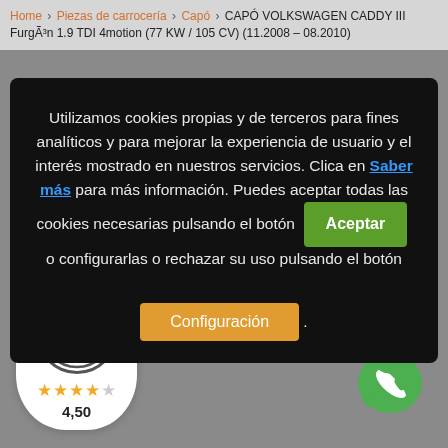Home > Piezas de carrocería > Capó > CAPÓ VOLKSWAGEN CADDY III Furgón 1.9 TDI 4motion (77 KW / 105 CV) (11.2008 – 08.2010)
Utilizamos cookies propias y de terceros para fines analíticos y para mejorar la experiencia de usuario y el interés mostrado en nuestros servicios. Clica en Saber más para más información. Puedes aceptar todas las cookies necesarias pulsando el botón Aceptar o configurarlas o rechazar su uso pulsando el botón Configuración .
[Figure (logo): Trusted Shops badge with 4.50 star rating and e-logo]
[Figure (logo): WhatsApp green phone icon]